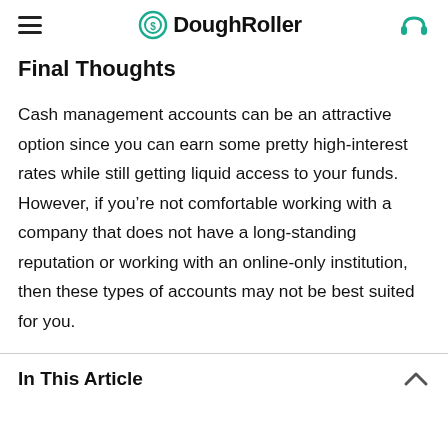DoughRoller
Final Thoughts
Cash management accounts can be an attractive option since you can earn some pretty high-interest rates while still getting liquid access to your funds. However, if you’re not comfortable working with a company that does not have a long-standing reputation or working with an online-only institution, then these types of accounts may not be best suited for you.
In This Article